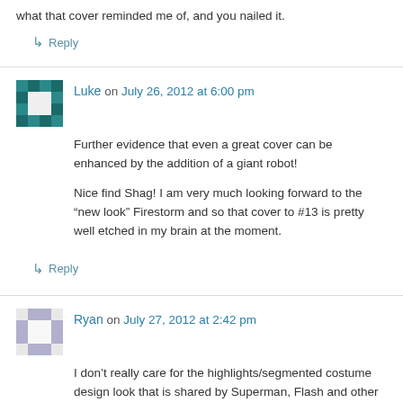what that cover reminded me of, and you nailed it.
↳ Reply
Luke on July 26, 2012 at 6:00 pm
Further evidence that even a great cover can be enhanced by the addition of a giant robot!
Nice find Shag! I am very much looking forward to the “new look” Firestorm and so that cover to #13 is pretty well etched in my brain at the moment.
↳ Reply
Ryan on July 27, 2012 at 2:42 pm
I don’t really care for the highlights/segmented costume design look that is shared by Superman, Flash and other members of the Justice League, but I’ll forgive it for the return of a combined Ronnie/Jason red & yellow costume.
Ethan Van Sciver has created some amazing designs for DC